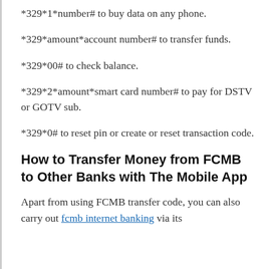*329*1*number# to buy data on any phone.
*329*amount*account number# to transfer funds.
*329*00# to check balance.
*329*2*amount*smart card number# to pay for DSTV or GOTV sub.
*329*0# to reset pin or create or reset transaction code.
How to Transfer Money from FCMB to Other Banks with The Mobile App
Apart from using FCMB transfer code, you can also carry out fcmb internet banking via its